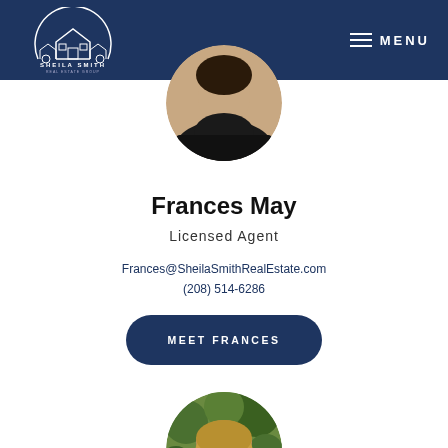Sheila Smith Real Estate Group — MENU
[Figure (photo): Circular profile photo of Frances May wearing a dark shirt, cropped at top]
Frances May
Licensed Agent
Frances@SheilaSmithRealEstate.com
(208) 514-6286
MEET FRANCES
[Figure (photo): Circular profile photo of a woman with long hair outdoors with green foliage background, partially visible at bottom]